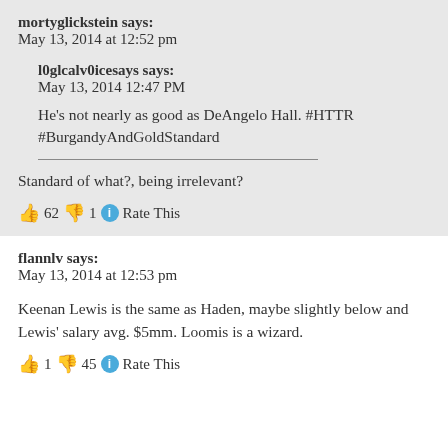mortyglickstein says:
May 13, 2014 at 12:52 pm
l0glcalv0icesays says:
May 13, 2014 12:47 PM
He's not nearly as good as DeAngelo Hall. #HTTR
#BurgandyAndGoldStandard

Standard of what?, being irrelevant?
👍 62 👎 1 ℹ Rate This
flannlv says:
May 13, 2014 at 12:53 pm
Keenan Lewis is the same as Haden, maybe slightly below and Lewis' salary avg. $5mm. Loomis is a wizard.
👍 1 👎 45 ℹ Rate This